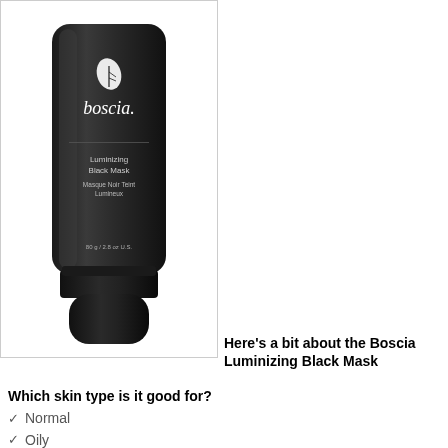[Figure (photo): Boscia Luminizing Black Mask product tube, black squeeze tube with white boscia logo and leaf icon, text reading Luminizing Black Mask / Masque Noir Teint Lumineux, 80g/2.8 oz US]
Here's a bit about the Boscia Luminizing Black Mask
Which skin type is it good for?
Normal
Oily
Combination